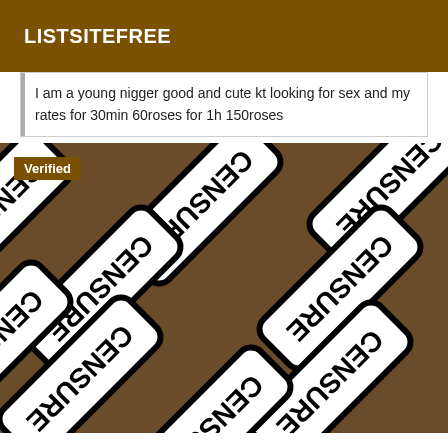LISTSITEFREE
I am a young nigger good and cute kt looking for sex and my rates for 30min 60roses for 1h 150roses
[Figure (photo): Censored image with multiple overlapping white rectangular tiles with rounded corners displaying the word 'CENSURE' in bold black rotated text, arranged diagonally across a dark brown background. A 'Verified' badge appears in the top-left corner.]